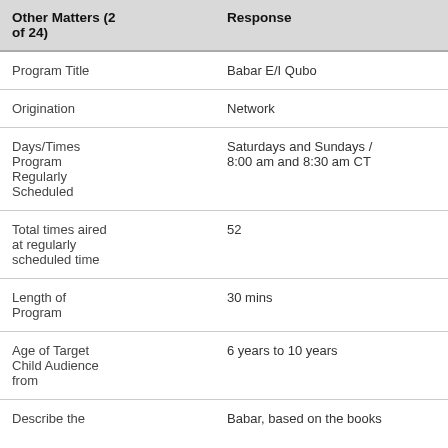| Other Matters (2 of 24) | Response |
| --- | --- |
| Program Title | Babar E/I Qubo |
| Origination | Network |
| Days/Times Program Regularly Scheduled | Saturdays and Sundays / 8:00 am and 8:30 am CT |
| Total times aired at regularly scheduled time | 52 |
| Length of Program | 30 mins |
| Age of Target Child Audience from | 6 years to 10 years |
| Describe the | Babar, based on the books |